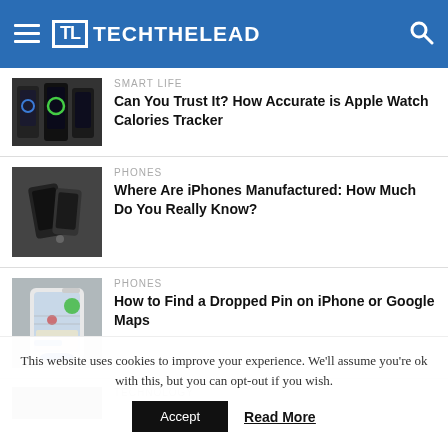TECHTHELEAD
SMART LIFE
Can You Trust It? How Accurate is Apple Watch Calories Tracker
PHONES
Where Are iPhones Manufactured: How Much Do You Really Know?
PHONES
How to Find a Dropped Pin on iPhone or Google Maps
This website uses cookies to improve your experience. We'll assume you're ok with this, but you can opt-out if you wish.
Accept
Read More